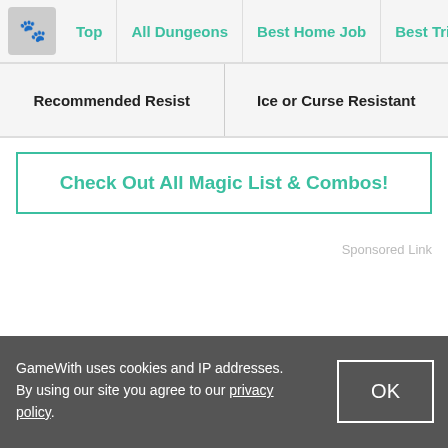Top | All Dungeons | Best Home Job | Best Tribe | Bes...
| Recommended Resist | Ice or Curse Resistant |
| --- | --- |
Check Out All Magic List & Combos!
Sponsored Link
Menu
GameWith uses cookies and IP addresses. By using our site you agree to our privacy policy.